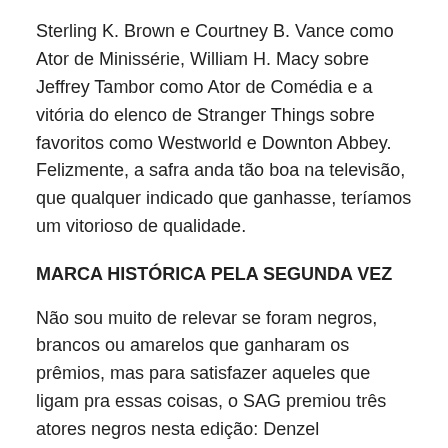Sterling K. Brown e Courtney B. Vance como Ator de Minissérie, William H. Macy sobre Jeffrey Tambor como Ator de Comédia e a vitória do elenco de Stranger Things sobre favoritos como Westworld e Downton Abbey. Felizmente, a safra anda tão boa na televisão, que qualquer indicado que ganhasse, teríamos um vitorioso de qualidade.
MARCA HISTÓRICA PELA SEGUNDA VEZ
Não sou muito de relevar se foram negros, brancos ou amarelos que ganharam os prêmios, mas para satisfazer aqueles que ligam pra essas coisas, o SAG premiou três atores negros nesta edição: Denzel Washington, Viola Davis e Mahershala Ali. Esta é a segunda vez que isso acontece no prêmio do sindicato de atores em 23 anos. A primeira vez foi há dez anos, quando Forest Whitaker,